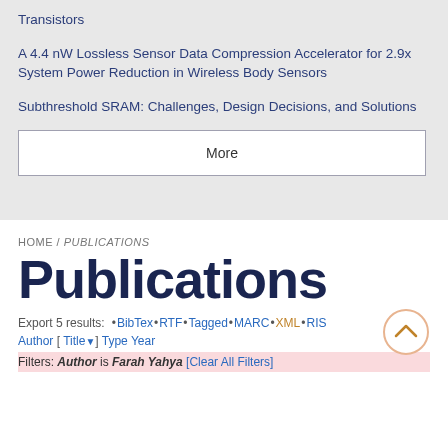Transistors
A 4.4 nW Lossless Sensor Data Compression Accelerator for 2.9x System Power Reduction in Wireless Body Sensors
Subthreshold SRAM: Challenges, Design Decisions, and Solutions
More
HOME / PUBLICATIONS
Publications
Export 5 results: • BibTex • RTF • Tagged • MARC • XML • RIS
Author [ Title▼] Type Year
Filters: Author is Farah Yahya [Clear All Filters]